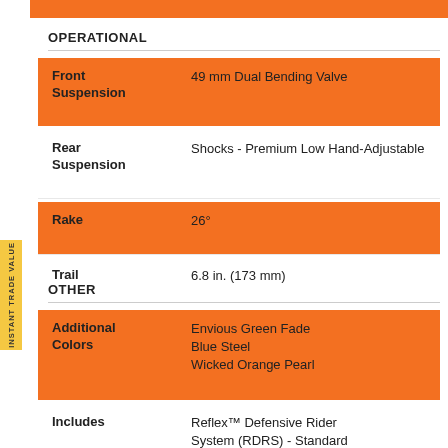OPERATIONAL
|  |  |
| --- | --- |
| Front Suspension | 49 mm Dual Bending Valve |
| Rear Suspension | Shocks - Premium Low Hand-Adjustable |
| Rake | 26° |
| Trail | 6.8 in. (173 mm) |
OTHER
|  |  |
| --- | --- |
| Additional Colors | Envious Green Fade
Blue Steel
Wicked Orange Pearl |
| Includes | Reflex™ Defensive Rider System (RDRS) - Standard |